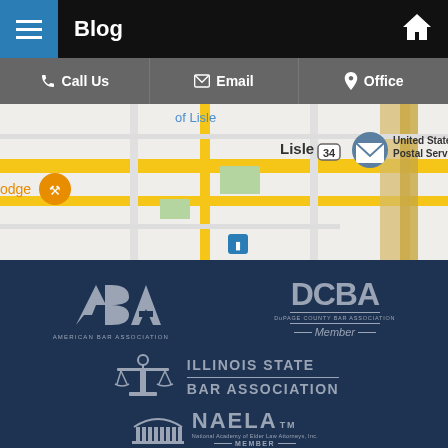Blog
Call Us | Email | Office
[Figure (map): Street map showing Lisle area with United States Postal Service location pin, road 34 labeled, restaurants and transit icons visible]
[Figure (logo): ABA - American Bar Association logo (silver/grey on dark navy background)]
[Figure (logo): DCBA - DuPage County Bar Association Member logo (silver/grey on dark navy background)]
[Figure (logo): Illinois State Bar Association logo with scales icon (silver/grey on dark navy background)]
[Figure (logo): NAELA - National Academy of Elder Law Attorneys, Inc. Member logo (silver/grey on dark navy background)]